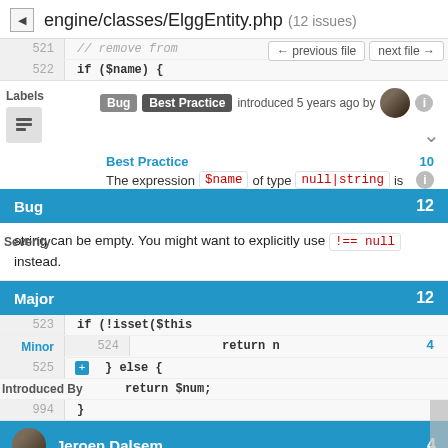engine/classes/ElggEntity.php (12 issues)
521   // remove from
522   if ($name) {
← previous file   next file →
Bug  Best Practice  introduced 5 years ago by
Best Practice  10
The expression $name of type null|string is
Bug  12
string can be empty. You might want to explicitly use !== null instead.
Major  12
523   if (!isset($this
524        return n
525   } else {
        return $num;
994   }
Minor  4
Introduced By
Jeroen Dalsem  4
return elgg_get_entities(  3
Steve Clay  3